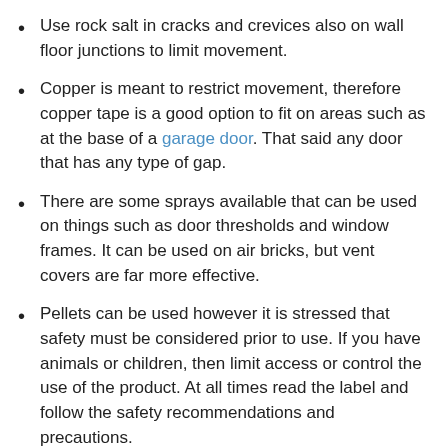Use rock salt in cracks and crevices also on wall floor junctions to limit movement.
Copper is meant to restrict movement, therefore copper tape is a good option to fit on areas such as at the base of a garage door. That said any door that has any type of gap.
There are some sprays available that can be used on things such as door thresholds and window frames. It can be used on air bricks, but vent covers are far more effective.
Pellets can be used however it is stressed that safety must be considered prior to use. If you have animals or children, then limit access or control the use of the product. At all times read the label and follow the safety recommendations and precautions.